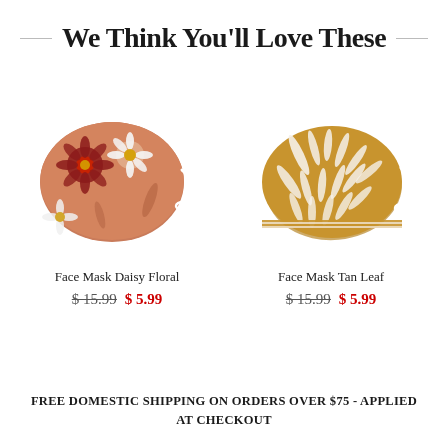We Think You'll Love These
[Figure (photo): Face mask with daisy floral pattern in warm red/brown tones with white ear loops]
[Figure (photo): Face mask with tan leaf pattern in golden/ochre tones with white ear loops]
Face Mask Daisy Floral
$ 15.99  $ 5.99
Face Mask Tan Leaf
$ 15.99  $ 5.99
FREE DOMESTIC SHIPPING ON ORDERS OVER $75 - APPLIED AT CHECKOUT